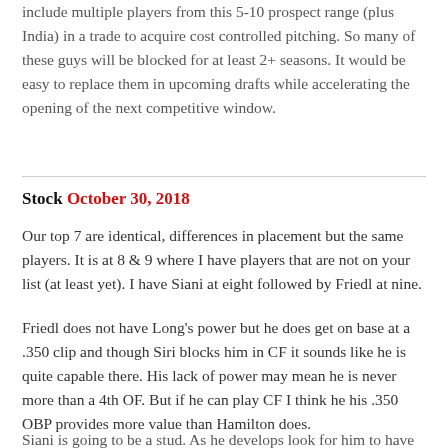include multiple players from this 5-10 prospect range (plus India) in a trade to acquire cost controlled pitching. So many of these guys will be blocked for at least 2+ seasons. It would be easy to replace them in upcoming drafts while accelerating the opening of the next competitive window.
Stock October 30, 2018
Our top 7 are identical, differences in placement but the same players. It is at 8 & 9 where I have players that are not on your list (at least yet). I have Siani at eight followed by Friedl at nine.
Friedl does not have Long's power but he does get on base at a .350 clip and though Siri blocks him in CF it sounds like he is quite capable there. His lack of power may mean he is never more than a 4th OF. But if he can play CF I think he his .350 OBP provides more value than Hamilton does.
Siani is going to be a stud. As he develops look for him to have